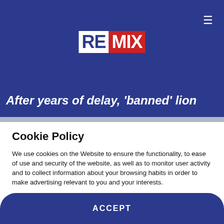[Figure (logo): REMIX news website logo — RE in white box on dark blue, MIX in white on red box]
After years of delay, 'banned' lion
Cookie Policy
We use cookies on the Website to ensure the functionality, to ease of use and security of the website, as well as to monitor user activity and to collect information about your browsing habits in order to make advertising relevant to you and your interests.
Clicking on "Accept" you can allow all cookies. If you would like to reject or customize, please click on "Settings".
Read more: Cookie Policy
SETTINGS
ACCEPT